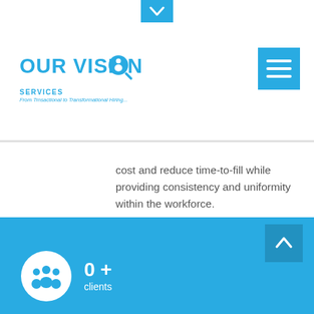[Figure (logo): Our Vision Services logo - blue text with magnifying glass icon containing a person silhouette. Tagline: From Trnsactional to Transformational Hiring...]
[Figure (other): Blue hamburger menu button (three horizontal white lines on blue background)]
cost and reduce time-to-fill while providing consistency and uniformity within the workforce.
[Figure (other): Blue background section with back-to-top arrow button and clients counter showing 0+ clients with people icon]
0 +
clients